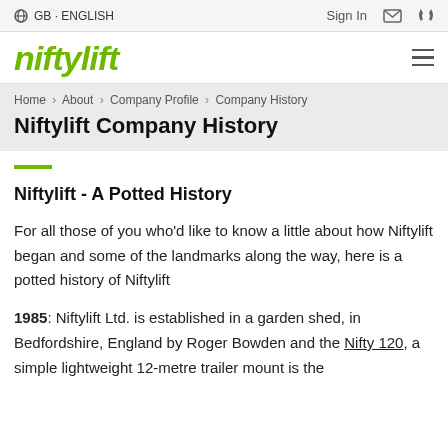GB · ENGLISH   Sign In
[Figure (logo): Niftylift company logo in green italic bold font]
Home > About > Company Profile > Company History
Niftylift Company History
Niftylift - A Potted History
For all those of you who'd like to know a little about how Niftylift began and some of the landmarks along the way, here is a potted history of Niftylift
1985: Niftylift Ltd. is established in a garden shed, in Bedfordshire, England by Roger Bowden and the Nifty 120, a simple lightweight 12-metre trailer mount is the